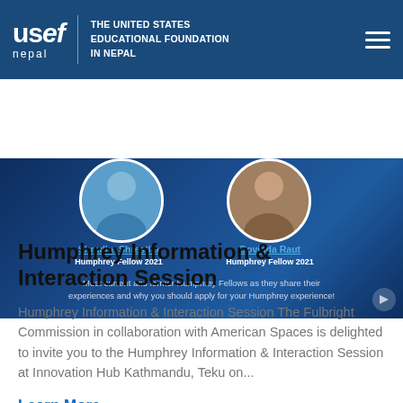USEF Nepal – The United States Educational Foundation in Nepal
[Figure (photo): Banner showing two circular profile photos of Humphrey Fellows: Shradha Shrestha (Humphrey Fellow 2021) on the left and Govinda Raut (Humphrey Fellow 2021) on the right, against a dark blue background. Text below reads: 'Meet current and former Humphrey Fellows as they share their experiences and why you should apply for your Humphrey experience!']
Humphrey Information & Interaction Session
Humphrey Information & Interaction Session The Fulbright Commission in collaboration with American Spaces is delighted to invite you to the Humphrey Information & Interaction Session at Innovation Hub Kathmandu, Teku on...
Learn More